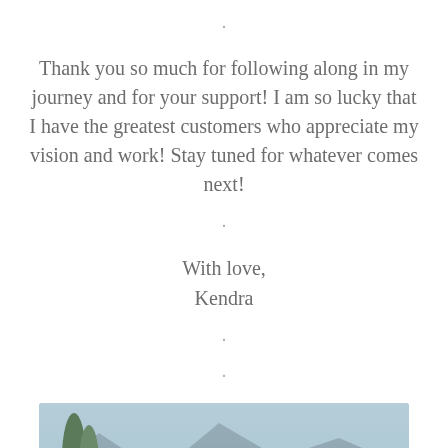·
Thank you so much for following along in my journey and for your support! I am so lucky that I have the greatest customers who appreciate my vision and work! Stay tuned for whatever comes next!
·
With love,
Kendra
·
·
[Figure (photo): A woman with long curly red hair wearing a dark floral top, photographed outdoors with trees, mountains, and a fountain in the background.]